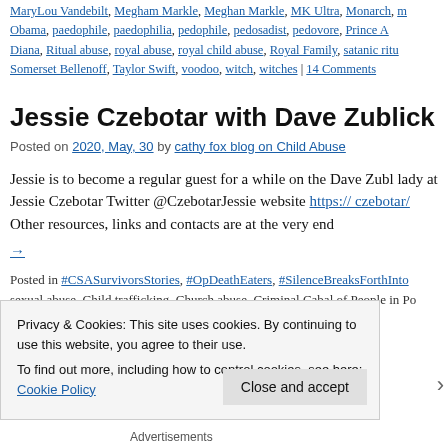MaryLou Vandebilt, Megham Markle, Meghan Markle, MK Ultra, Monarch, m Obama, paedophile, paedophilia, pedophile, pedosadist, pedovore, Prince A Diana, Ritual abuse, royal abuse, royal child abuse, Royal Family, satanic rit Somerset Bellenoff, Taylor Swift, voodoo, witch, witches | 14 Comments
Jessie Czebotar with Dave Zublick Interv
Posted on 2020, May, 30 by cathy fox blog on Child Abuse
Jessie is to become a regular guest for a while on the Dave Zubl lady at Jessie Czebotar Twitter @CzebotarJessie website https:// czebotar/ Other resources, links and contacts are at the very end
→
Posted in #CSASurvivorsStories, #OpDeathEaters, #SilenceBreaksForthInto sexual abuse, Child trafficking, Church abuse, Criminal Cabal of People in Po
Privacy & Cookies: This site uses cookies. By continuing to use this website, you agree to their use.
To find out more, including how to control cookies, see here: Cookie Policy
Close and accept
Advertisements